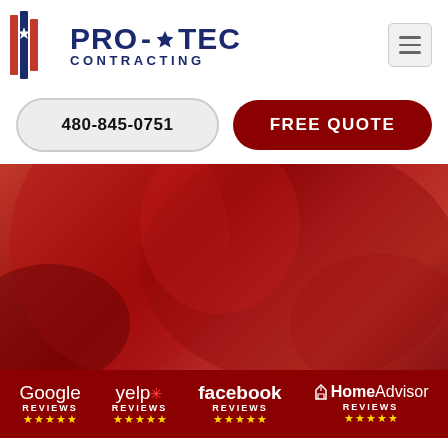[Figure (logo): Pro-Tec Contracting logo with red and blue shield/flag icon and bold blue text reading PRO-TEC CONTRACTING]
480-845-0751
FREE QUOTE
[Figure (photo): Red-tinted hero background photo showing a person in a red shirt]
[Figure (logo): Google Reviews 5-star logo in white]
[Figure (logo): Yelp Reviews 5-star logo in white]
[Figure (logo): Facebook Reviews 5-star logo in white]
[Figure (logo): HomeAdvisor Reviews 5-star logo in white]